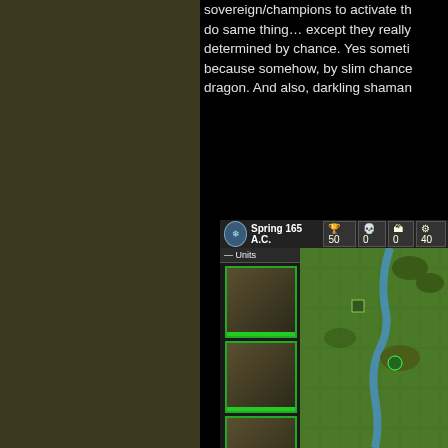sovereign/champions to activate th... do same thing… except they really... determined by chance. Yes someti... because somehow, by slim chance... dragon. And also, darkling shaman...
[Figure (screenshot): Fantasy strategy game screenshot showing a map with green terrain, a river, and game units. HUD bar at top shows Spring 165 A.C., resources: 50 gold, 0, 0, 40 mana. Left panel shows Units with three unit portrait cards with green health bars.]